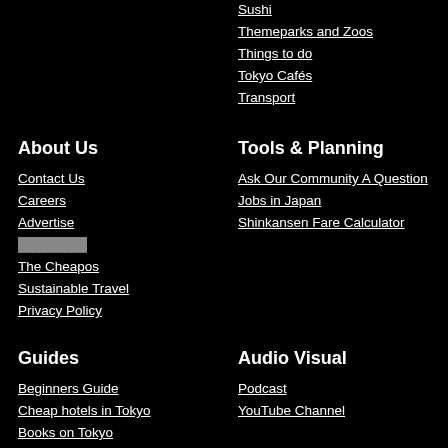Sushi
Themeparks and Zoos
Things to do
Tokyo Cafés
Transport
About Us
Contact Us
Careers
Advertise
[redacted]
The Cheapos
Sustainable Travel
Privacy Policy
Tools & Planning
Ask Our Community A Question
Jobs in Japan
Shinkansen Fare Calculator
Guides
Beginners Guide
Cheap hotels in Tokyo
Books on Tokyo
Audio Visual
Podcast
YouTube Channel